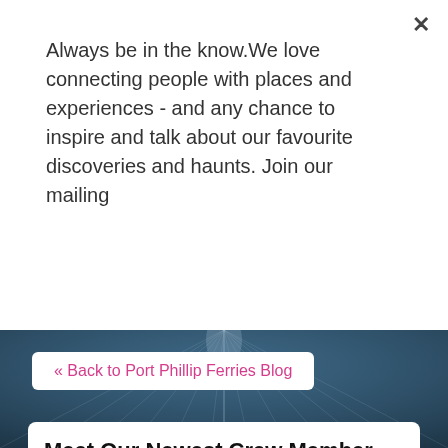Always be in the know.We love connecting people with places and experiences - and any chance to inspire and talk about our favourite discoveries and haunts. Join our mailing
Subscribe
[Figure (photo): Dark ocean aerial photo with light rays on water surface]
« Back to Port Phillip Ferries Blog
Meet Our Newest Crew Member, Wendell
October 23, 2018
[Figure (illustration): Blue background illustration with a cartoon dog (Snoopy-like) surrounded by colorful crescent moons and dots]